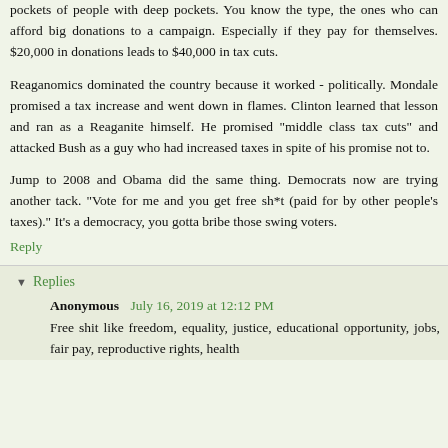pockets of people with deep pockets. You know the type, the ones who can afford big donations to a campaign. Especially if they pay for themselves. $20,000 in donations leads to $40,000 in tax cuts.
Reaganomics dominated the country because it worked - politically. Mondale promised a tax increase and went down in flames. Clinton learned that lesson and ran as a Reaganite himself. He promised "middle class tax cuts" and attacked Bush as a guy who had increased taxes in spite of his promise not to.
Jump to 2008 and Obama did the same thing. Democrats now are trying another tack. "Vote for me and you get free sh*t (paid for by other people's taxes)." It's a democracy, you gotta bribe those swing voters.
Reply
Replies
Anonymous July 16, 2019 at 12:12 PM
Free shit like freedom, equality, justice, educational opportunity, jobs, fair pay, reproductive rights, health